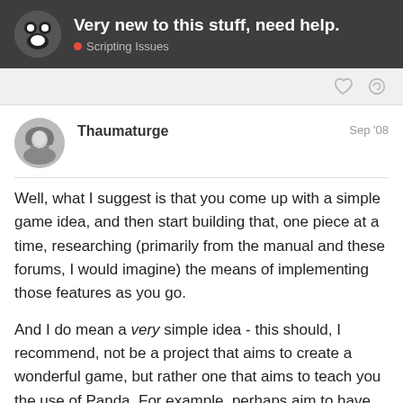Very new to this stuff, need help. | Scripting Issues
Thaumaturge | Sep '08
Well, what I suggest is that you come up with a simple game idea, and then start building that, one piece at a time, researching (primarily from the manual and these forums, I would imagine) the means of implementing those features as you go.
And I do mean a very simple idea - this should, I recommend, not be a project that aims to create a wonderful game, but rather one that aims to teach you the use of Panda. For example, perhaps aim to have two enemies, each capable of shooting at the player, a player avatar that is controlled via the keyboard, only moving on the z=0 plane, and capable of shooting in the direction in which the avatar faces
1 / 4